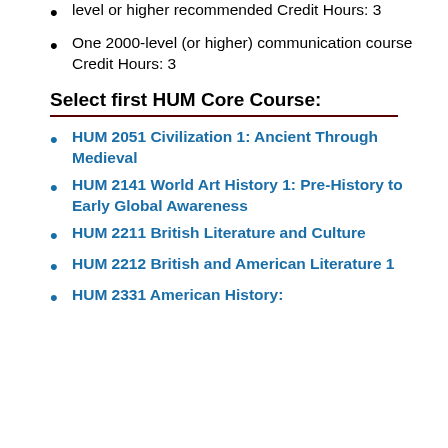level or higher recommended Credit Hours: 3
One 2000-level (or higher) communication course Credit Hours: 3
Select first HUM Core Course:
HUM 2051 Civilization 1: Ancient Through Medieval
HUM 2141 World Art History 1: Pre-History to Early Global Awareness
HUM 2211 British Literature and Culture
HUM 2212 British and American Literature 1
HUM 2331 American History: